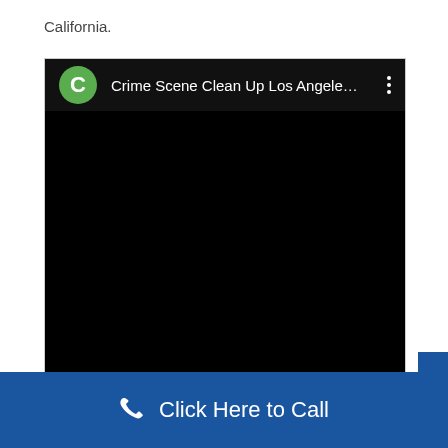California.
[Figure (screenshot): Screenshot of a video player interface with a green avatar circle showing letter C, title 'Crime Scene Clean Up Los Angele…' on a black background, with three-dot menu icon]
Click Here to Call